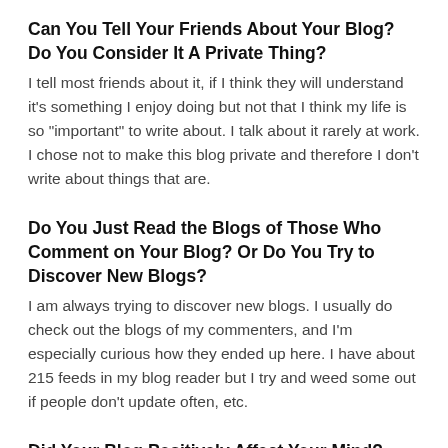Can You Tell Your Friends About Your Blog? Do You Consider It A Private Thing?
I tell most friends about it, if I think they will understand it’s something I enjoy doing but not that I think my life is so “important” to write about. I talk about it rarely at work. I chose not to make this blog private and therefore I don’t write about things that are.
Do You Just Read the Blogs of Those Who Comment on Your Blog? Or Do You Try to Discover New Blogs?
I am always trying to discover new blogs. I usually do check out the blogs of my commenters, and I’m especially curious how they ended up here. I have about 215 feeds in my blog reader but I try and weed some out if people don’t update often, etc.
Did Your Blog Positively Affect Your Mind? Give An Example.
I agree with Beth…I see a lot of things in my life that would “make a